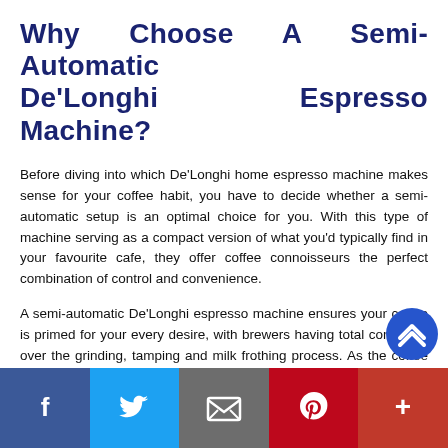Why Choose A Semi-Automatic De'Longhi Espresso Machine?
Before diving into which De'Longhi home espresso machine makes sense for your coffee habit, you have to decide whether a semi-automatic setup is an optimal choice for you. With this type of machine serving as a compact version of what you'd typically find in your favourite cafe, they offer coffee connoisseurs the perfect combination of control and convenience.
A semi-automatic De'Longhi espresso machine ensures your coffee is primed for your every desire, with brewers having total command over the grinding, tamping and milk frothing process. As the coffee machine takes over to pour a superb espresso shot, all the elements come together to deliver a sumptuous cup of coffee worth savouring.
What Are The Pump Espresso
[Figure (other): Social share bar with Facebook, Twitter, Email, Pinterest, and More buttons]
[Figure (other): Blue circular scroll-to-top button with double chevron up icon]